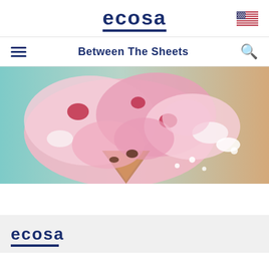ecosa
Between The Sheets
[Figure (photo): Close-up photo of a melting pink ice cream cone dropped on a surface, with strawberry ice cream and toppings scattered, against a teal and warm background.]
ecosa